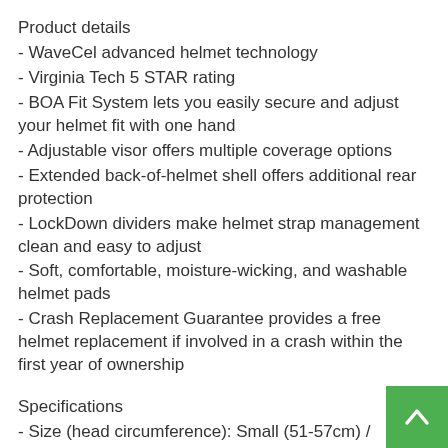Product details
- WaveCel advanced helmet technology
- Virginia Tech 5 STAR rating
- BOA Fit System lets you easily secure and adjust your helmet fit with one hand
- Adjustable visor offers multiple coverage options
- Extended back-of-helmet shell offers additional rear protection
- LockDown dividers make helmet strap management clean and easy to adjust
- Soft, comfortable, moisture-wicking, and washable helmet pads
- Crash Replacement Guarantee provides a free helmet replacement if involved in a crash within the first year of ownership
Specifications
- Size (head circumference): Small (51-57cm) / Medium (54-60cm) / Large (58-63cm)
- Fit system: Boa